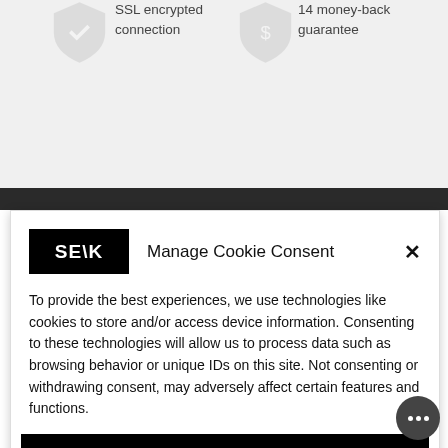SSL encrypted connection
14 money-back guarantee
Manage Cookie Consent
To provide the best experiences, we use technologies like cookies to store and/or access device information. Consenting to these technologies will allow us to process data such as browsing behavior or unique IDs on this site. Not consenting or withdrawing consent, may adversely affect certain features and functions.
ACCEPT
VIEW PREFERENCES
Cookie Policy  Privacy Policy